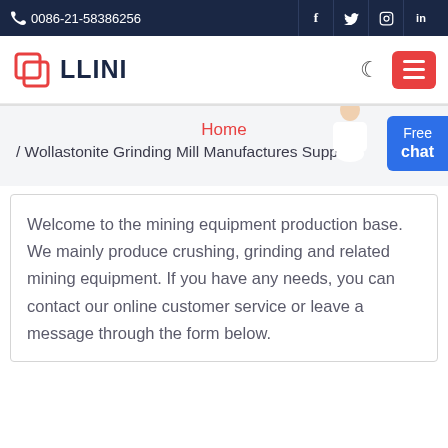0086-21-58386256
[Figure (logo): LLINI company logo with red square icon and dark blue text]
Home / Wollastonite Grinding Mill Manufactures Suppliers
Welcome to the mining equipment production base. We mainly produce crushing, grinding and related mining equipment. If you have any needs, you can contact our online customer service or leave a message through the form below.